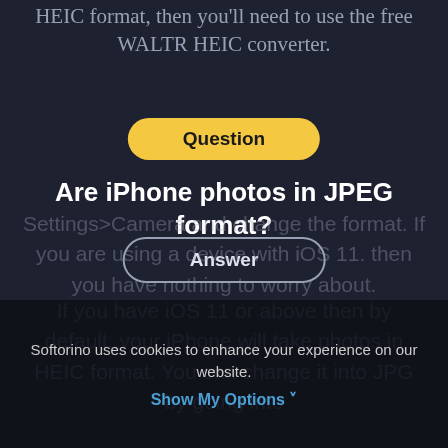HEIC format, then you'll need to use the free WALTR HEIC converter.
Question
Are iPhone photos in JPEG format?
Answer
If you have iOS 11 or above then by default, your iPhone will take photos in HEIC format. You can change it into JPG by going into
Settings>Camera and change the format. If you are using a device with iOS 11. then you have nothing to worry about.
Softorino uses cookies to enhance your experience on our website. Show My Options ✓